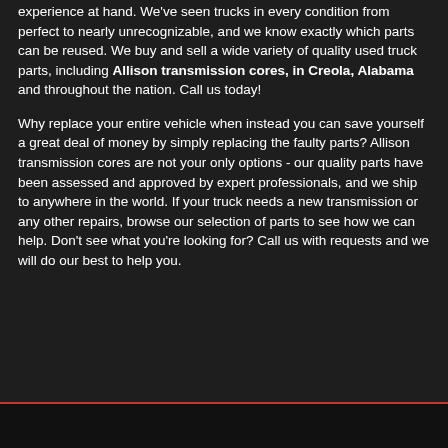experience at hand. We've seen trucks in every condition from perfect to nearly unrecognizable, and we know exactly which parts can be reused. We buy and sell a wide variety of quality used truck parts, including Allison transmission cores, in Creola, Alabama and throughout the nation. Call us today!
Why replace your entire vehicle when instead you can save yourself a great deal of money by simply replacing the faulty parts? Allison transmission cores are not your only options - our quality parts have been assessed and approved by expert professionals, and we ship to anywhere in the world. If your truck needs a new transmission or any other repairs, browse our selection of parts to see how we can help. Don't see what you're looking for? Call us with requests and we will do our best to help you.